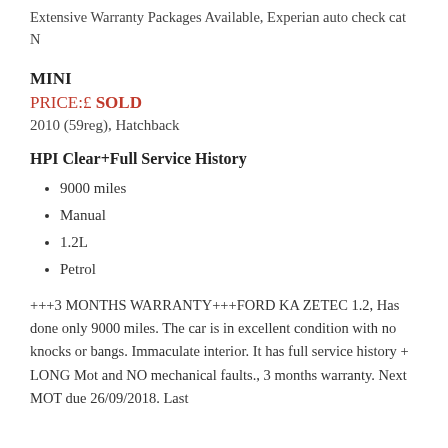Extensive Warranty Packages Available, Experian auto check cat N
MINI
PRICE:£ SOLD
2010 (59reg), Hatchback
HPI Clear+Full Service History
9000 miles
Manual
1.2L
Petrol
+++3 MONTHS WARRANTY+++FORD KA ZETEC 1.2, Has done only 9000 miles. The car is in excellent condition with no knocks or bangs. Immaculate interior. It has full service history + LONG Mot and NO mechanical faults., 3 months warranty. Next MOT due 26/09/2018. Last